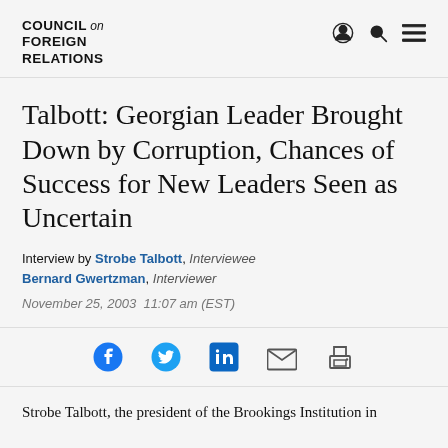COUNCIL on FOREIGN RELATIONS
Talbott: Georgian Leader Brought Down by Corruption, Chances of Success for New Leaders Seen as Uncertain
Interview by Strobe Talbott, Interviewee
Bernard Gwertzman, Interviewer
November 25, 2003  11:07 am (EST)
[Figure (infographic): Social sharing icons row: Facebook, Twitter, LinkedIn, Email, Print]
Strobe Talbott, the president of the Brookings Institution in